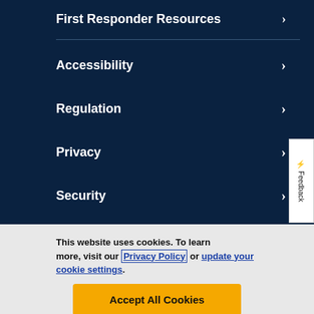First Responder Resources
Accessibility
Regulation
Privacy
Security
Terms & Conditions
This website uses cookies. To learn more, visit our Privacy Policy or update your cookie settings.
Accept All Cookies